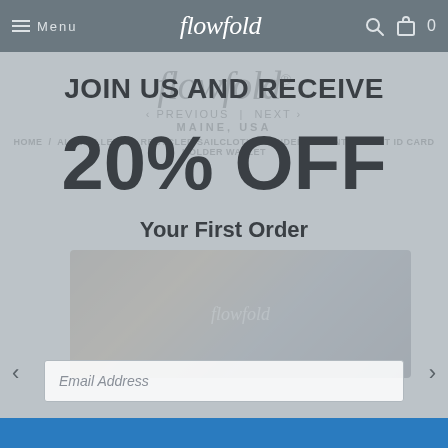Menu  flowfold  0
[Figure (logo): Flowfold logo with italic script font, showing 'flowfold' in dark text with registered trademark symbol, 'PREVIOUS | NEXT' navigation, and 'MAINE, USA' tagline]
HOME / ALL WALLETS / RECYCLED SAILCLOTH FOUNDER - FRONT POCKET ID CARD HOLDER WALLET
JOIN US AND RECEIVE
20% OFF
Your First Order
[Figure (photo): Flowfold wallet product image - a recycled sailcloth wallet in dark blue/brown tones with the flowfold logo]
Email Address